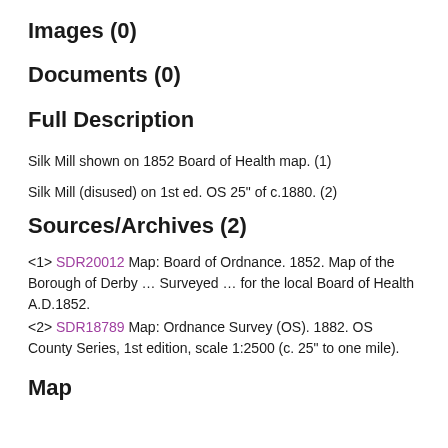Images (0)
Documents (0)
Full Description
Silk Mill shown on 1852 Board of Health map. (1)
Silk Mill (disused) on 1st ed. OS 25" of c.1880. (2)
Sources/Archives (2)
<1> SDR20012 Map: Board of Ordnance. 1852. Map of the Borough of Derby … Surveyed … for the local Board of Health A.D.1852.
<2> SDR18789 Map: Ordnance Survey (OS). 1882. OS County Series, 1st edition, scale 1:2500 (c. 25" to one mile).
Map